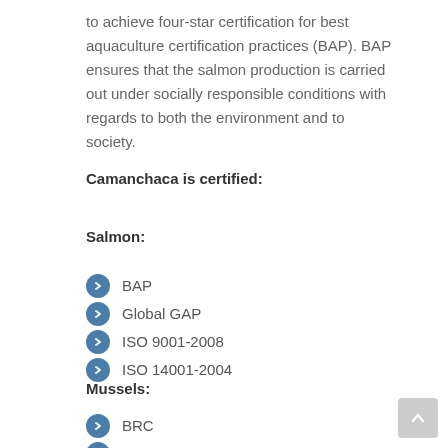to achieve four-star certification for best aquaculture certification practices (BAP). BAP ensures that the salmon production is carried out under socially responsible conditions with regards to both the environment and to society.
Camanchaca is certified:
Salmon:
BAP
Global GAP
ISO 9001-2008
ISO 14001-2004
Mussels:
BRC
FOS